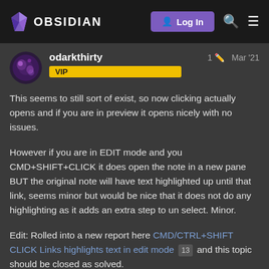OBSIDIAN  Log In
odarkthirty  VIP  1  Mar '21
This seems to still sort of exist, so now clicking actually opens and if you are in preview it opens nicely with no issues.

However if you are in EDIT mode and you CMD+SHIFT+CLICK it does open the note in a new pane BUT the original note will have text highlighted up until that link, seems minor but would be nice that it does not do any highlighting as it adds an extra step to un select. Minor.

Edit: Rolled into a new report here CMD/CTRL+SHIFT CLICK Links highlights text in edit mode 13 and this topic should be closed as solved.
5 / 5